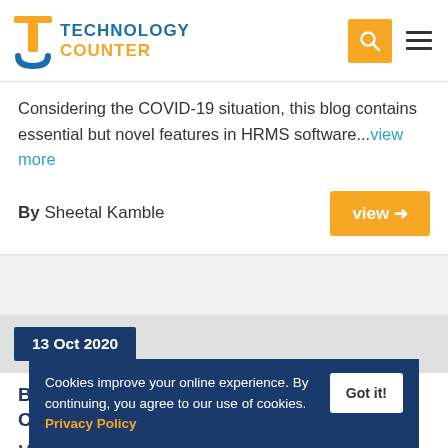Technology Counter
Considering the COVID-19 situation, this blog contains essential but novel features in HRMS software...view more
By Sheetal Kamble
13 Oct 2020
Buyers Insights For School Software in COVID-19 Pa...
Manual, paper-based board report management strategies...f public educ...view more
Cookies improve your online experience. By continuing, you agree to our use of cookies. Privacy Policy